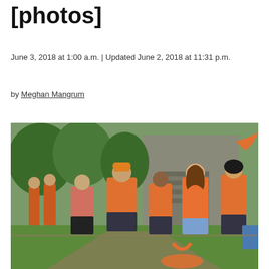[photos]
June 3, 2018 at 1:00 a.m. | Updated June 2, 2018 at 11:31 p.m.
by Meghan Mangrum
[Figure (photo): Group of people wearing orange T-shirts walking outdoors near a building with trees in background. A young woman in the foreground is carrying orange supplies.]